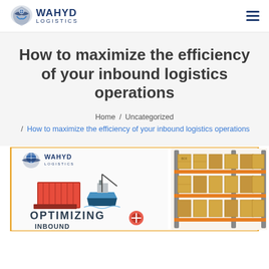WAHYD LOGISTICS
How to maximize the efficiency of your inbound logistics operations
Home / Uncategorized / How to maximize the efficiency of your inbound logistics operations
[Figure (infographic): Wahyd Logistics infographic showing OPTIMIZING INBOUND logistics with shipping containers, cargo ship, warehouse shelving with boxes, and logistics equipment icons]